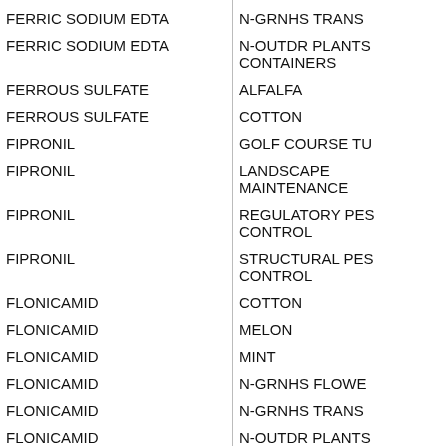| Active Ingredient | Site/Use |
| --- | --- |
| FERRIC SODIUM EDTA | N-GRNHS TRANS |
| FERRIC SODIUM EDTA | N-OUTDR PLANTS CONTAINERS |
| FERROUS SULFATE | ALFALFA |
| FERROUS SULFATE | COTTON |
| FIPRONIL | GOLF COURSE TU |
| FIPRONIL | LANDSCAPE MAINTENANCE |
| FIPRONIL | REGULATORY PES CONTROL |
| FIPRONIL | STRUCTURAL PES CONTROL |
| FLONICAMID | COTTON |
| FLONICAMID | MELON |
| FLONICAMID | MINT |
| FLONICAMID | N-GRNHS FLOWE |
| FLONICAMID | N-GRNHS TRANS |
| FLONICAMID | N-OUTDR PLANTS |